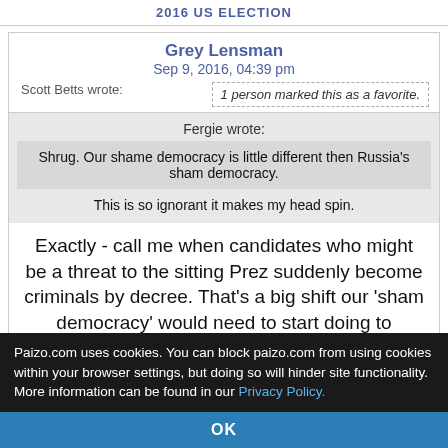2016 US ELECTION
Grey Lensman
Sep 9, 2016, 04:39 pm
Scott Betts wrote:
1 person marked this as a favorite.
Fergie wrote:
Shrug. Our shame democracy is little different then Russia's sham democracy.
This is so ignorant it makes my head spin.
Exactly - call me when candidates who might be a threat to the sitting Prez suddenly become criminals by decree. That's a big shift our 'sham democracy' would need to start doing to compare with Russia's sham.
Paizo.com uses cookies. You can block paizo.com from using cookies within your browser settings, but doing so will hinder site functionality. More information can be found in our Privacy Policy.
OK